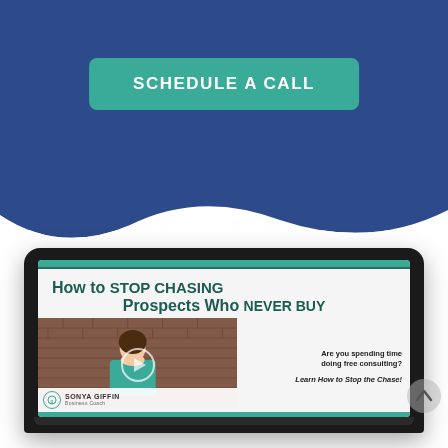[Figure (screenshot): Blue background section with a teal 'SCHEDULE A CALL' button and a wave divider at the bottom]
[Figure (screenshot): Laptop mockup showing a video slide titled 'How to STOP CHASING Prospects Who NEVER BUY' with a video thumbnail of Sonya Giffin and text: 'Are you spending time doing free consulting? Learn How to Stop the Chase!']